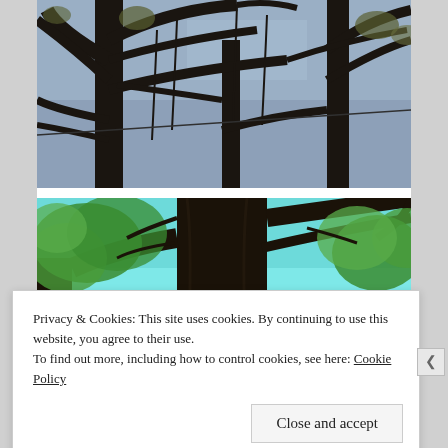[Figure (photo): Photo of tree silhouettes with dark branches against a blue-grey sky, taken from below looking upward]
[Figure (photo): Photo of a large tree trunk with green leafy branches against a bright cyan-blue sky]
Privacy & Cookies: This site uses cookies. By continuing to use this website, you agree to their use.
To find out more, including how to control cookies, see here: Cookie Policy
Close and accept